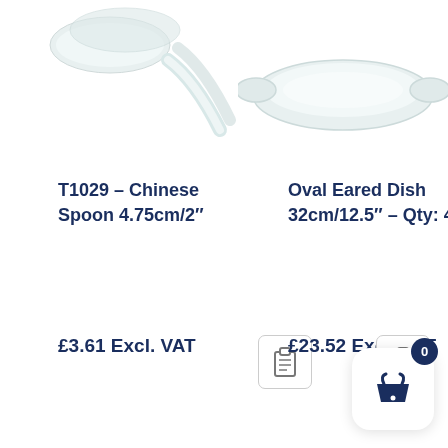[Figure (photo): Photo of white ceramic Chinese spoons (left) and white oval eared dishes (right) on white background, partially cropped at top of page]
T1029 – Chinese Spoon 4.75cm/2"
Oval Eared Dish 32cm/12.5" – Qty: 4
£3.61 Excl. VAT
£23.52 Excl. VAT
[Figure (other): Clipboard icon button (add to clipboard) for left product]
[Figure (other): Clipboard icon button (add to clipboard) for right product]
[Figure (other): Shopping basket icon widget with count badge showing 0]